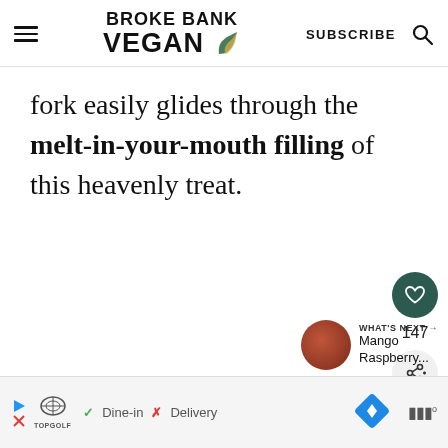BROKE BANK VEGAN | SUBSCRIBE
fork easily glides through the melt-in-your-mouth filling of this heavenly treat.
[Figure (infographic): Social sharing sidebar with heart icon (147 likes) and share button]
[Figure (infographic): What's Next panel with circular thumbnail and text: Mango Raspberry...]
[Figure (infographic): Advertisement bar with TopGolf logo, Dine-in and Delivery options, navigation and audio icons]